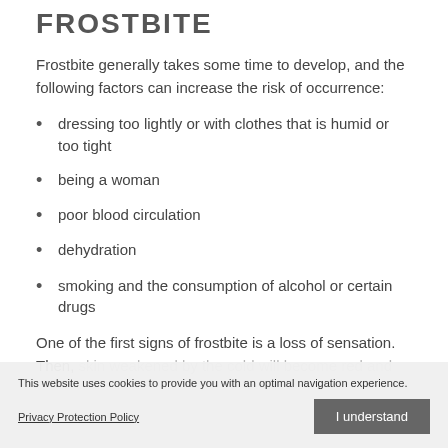FROSTBITE
Frostbite generally takes some time to develop, and the following factors can increase the risk of occurrence:
dressing too lightly or with clothes that is humid or too tight
being a woman
poor blood circulation
dehydration
smoking and the consumption of alcohol or certain drugs
One of the first signs of frostbite is a loss of sensation. Then, skin weakened by the cold will become red and difficult to the touch. People with frostbite will generally complain of a tingling sensation, numbness or pain.
This website uses cookies to provide you with an optimal navigation experience.
Privacy Protection Policy    I understand